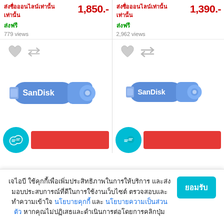ส่งชื่อออนไลน์เท่านั้น
1,850.-
ส่งฟรี
779 views
ส่งชื่อออนไลน์เท่านั้น
1,390.-
ส่งฟรี
2,962 views
[Figure (photo): Blue SanDisk USB flash drive (left product)]
[Figure (photo): Blue SanDisk USB flash drive (right product)]
เจไอบี ใช้คุกกี้เพื่อเพิ่มประสิทธิภาพในการให้บริการ และส่งมอบประสบการณ์ที่ดีในการใช้งานเว็บไซต์ ตรวจสอบและทำความเข้าใจ นโยบายคุกกี้ และ นโยบายความเป็นส่วนตัว หากคุณไม่ปฏิเสธและดำเนินการต่อโดยการคลิกปุ่ม
ยอมรับ